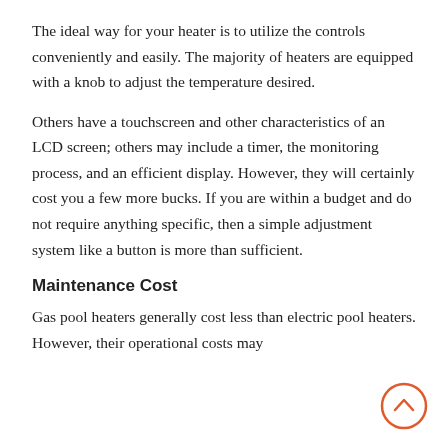The ideal way for your heater is to utilize the controls conveniently and easily. The majority of heaters are equipped with a knob to adjust the temperature desired.
Others have a touchscreen and other characteristics of an LCD screen; others may include a timer, the monitoring process, and an efficient display. However, they will certainly cost you a few more bucks. If you are within a budget and do not require anything specific, then a simple adjustment system like a button is more than sufficient.
Maintenance Cost
Gas pool heaters generally cost less than electric pool heaters. However, their operational costs may